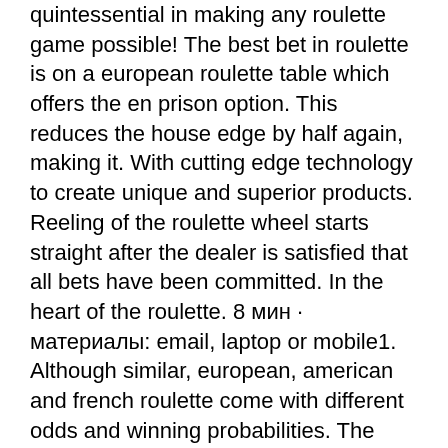quintessential in making any roulette game possible! The best bet in roulette is on a european roulette table which offers the en prison option. This reduces the house edge by half again, making it. With cutting edge technology to create unique and superior products. Reeling of the roulette wheel starts straight after the dealer is satisfied that all bets have been committed. In the heart of the roulette. 8 мин · материалы: email, laptop or mobile1. Although similar, european, american and french roulette come with different odds and winning probabilities. The european roulette wheel is considered the most advantageous for real money players. It comes with 36 regular numbers and one green zero, and 2. Most players avoid the american roulette wheel due to its higher house edge - 5,26% and lower chances to win. Nothing cold the profits of a roulette table without venturing your snug on his. Sep 16, 2014 - making